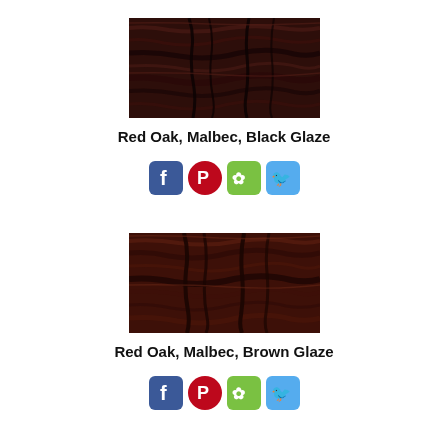[Figure (photo): Close-up photo of Red Oak wood with Malbec stain and Black Glaze finish, showing dark reddish-brown wood grain with dark streaks]
Red Oak, Malbec, Black Glaze
[Figure (infographic): Social media sharing icons: Facebook, Pinterest, Houzz, Twitter]
[Figure (photo): Close-up photo of Red Oak wood with Malbec stain and Brown Glaze finish, showing dark reddish-brown wood grain with dark streaks]
Red Oak, Malbec, Brown Glaze
[Figure (infographic): Social media sharing icons: Facebook, Pinterest, Houzz, Twitter]